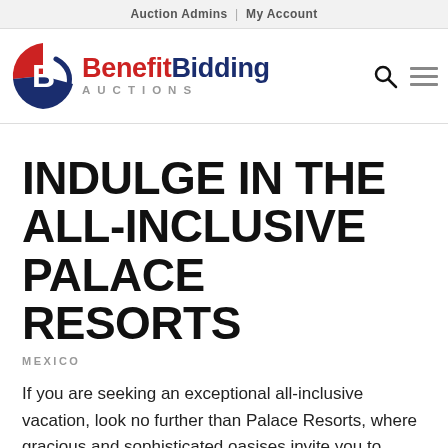Auction Admins | My Account
[Figure (logo): BenefitBidding Auctions logo with red and blue circular B emblem and text 'BenefitBidding AUCTIONS' with search and menu icons]
INDULGE IN THE ALL-INCLUSIVE PALACE RESORTS
MEXICO
If you are seeking an exceptional all-inclusive vacation, look no further than Palace Resorts, where gracious and sophisticated oasises invite you to indulge yourself in luxury. An all-inclusive